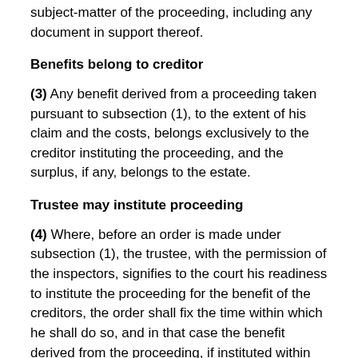subject-matter of the proceeding, including any document in support thereof.
Benefits belong to creditor
(3) Any benefit derived from a proceeding taken pursuant to subsection (1), to the extent of his claim and the costs, belongs exclusively to the creditor instituting the proceeding, and the surplus, if any, belongs to the estate.
Trustee may institute proceeding
(4) Where, before an order is made under subsection (1), the trustee, with the permission of the inspectors, signifies to the court his readiness to institute the proceeding for the benefit of the creditors, the order shall fix the time within which he shall do so, and in that case the benefit derived from the proceeding, if instituted within the time so fixed, belongs to the estate.
R.S., 1985, c. B-3, s. 38; 2004, c. 25, s. 31(F).